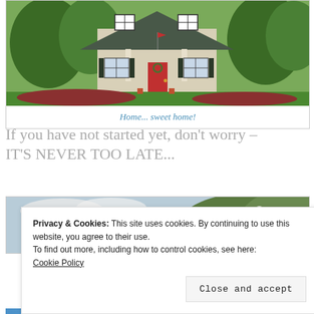[Figure (photo): Photo of a suburban American house with green lawn, red front door, flower beds, and trees. Bordered with thin line.]
Home... sweet home!
If you have not started yet, don't worry – IT'S NEVER TOO LATE...
[Figure (photo): Photo of a woman with a llama in a mountainous landscape.]
Privacy & Cookies: This site uses cookies. By continuing to use this website, you agree to their use.
To find out more, including how to control cookies, see here:
Cookie Policy
Close and accept